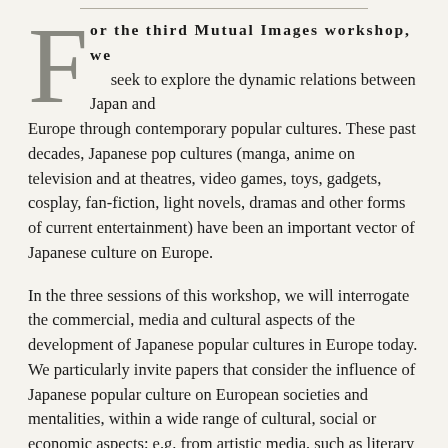For the third Mutual Images workshop, we seek to explore the dynamic relations between Japan and Europe through contemporary popular cultures. These past decades, Japanese pop cultures (manga, anime on television and at theatres, video games, toys, gadgets, cosplay, fan-fiction, light novels, dramas and other forms of current entertainment) have been an important vector of Japanese culture on Europe.
In the three sessions of this workshop, we will interrogate the commercial, media and cultural aspects of the development of Japanese popular cultures in Europe today. We particularly invite papers that consider the influence of Japanese popular culture on European societies and mentalities, within a wide range of cultural, social or economic aspects; e.g. from artistic media, such as literary productions, to eating habits. We encourage submissions characterized by interdisciplinary approaches. This workshop is open to Ph.D. students, Ph.D.